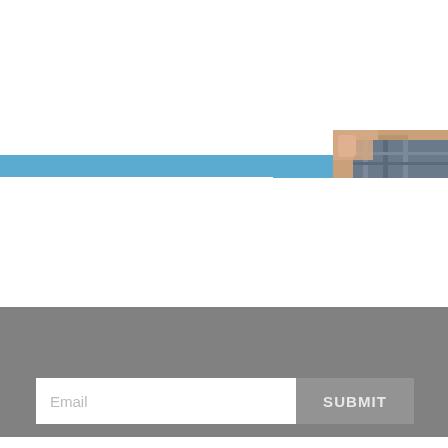[Figure (photo): A blue horizontal banner/bar across the page with a partial photo of a person (skin and clothing visible) in the upper right corner area.]
SUBSCRIBE TO OUR FREE NEWSLETTER FOR NEWS AND PRIZES
Email
SUBMIT